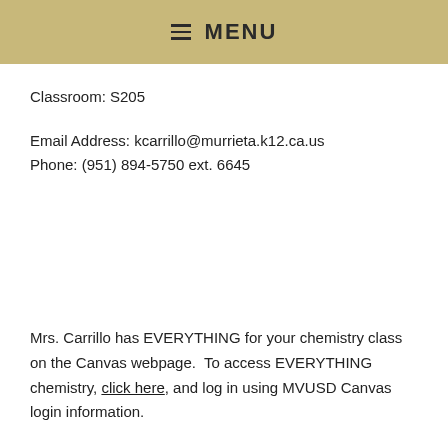≡ MENU
Classroom: S205
Email Address: kcarrillo@murrieta.k12.ca.us
Phone: (951) 894-5750 ext. 6645
Mrs. Carrillo has EVERYTHING for your chemistry class on the Canvas webpage. To access EVERYTHING chemistry, click here, and log in using MVUSD Canvas login information.